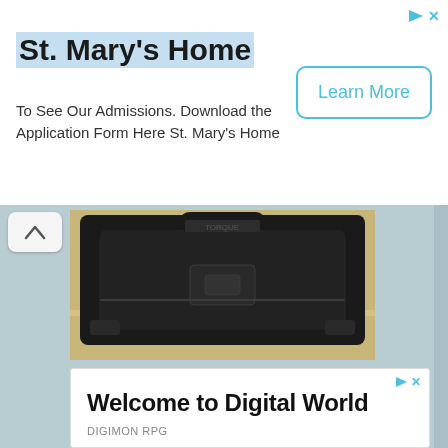St. Mary's Home
To See Our Admissions. Download the Application Form Here St. Mary's Home
[Figure (screenshot): A 'Learn More' button with cyan/teal border on white background, part of an advertisement]
[Figure (photo): Product photo of a black tactical/travel bag or backpack on a light wooden surface, partially cropped]
Welcome to Digital World
DIGIMON RPG